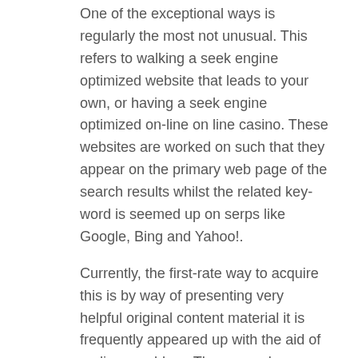One of the exceptional ways is regularly the most not unusual. This refers to walking a seek engine optimized website that leads to your own, or having a seek engine optimized on-line on line casino. These websites are worked on such that they appear on the primary web page of the search results whilst the related key-word is seemed up on serps like Google, Bing and Yahoo!.
Currently, the first-rate way to acquire this is by way of presenting very helpful original content material it is frequently appeared up with the aid of on line gamblers. These may be some thing that offers precise poker tips, instructions on a way to play roulette, designated facts of your casino, or something else that traffic can definitely use in place of something written for the sake of oneway links. You also can use legitimate search engine optimization equipment, many of which you will need to pay for.
Don't lead to in reality setting your website online on